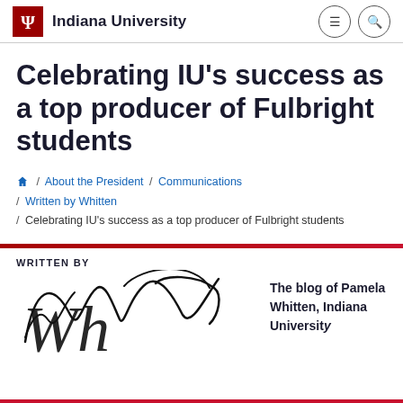Indiana University
Celebrating IU's success as a top producer of Fulbright students
/ About the President / Communications / Written by Whitten / Celebrating IU's success as a top producer of Fulbright students
[Figure (illustration): Written by Whitten blog logo with decorative script signature and text 'The blog of Pamela Whitten, Indiana University']